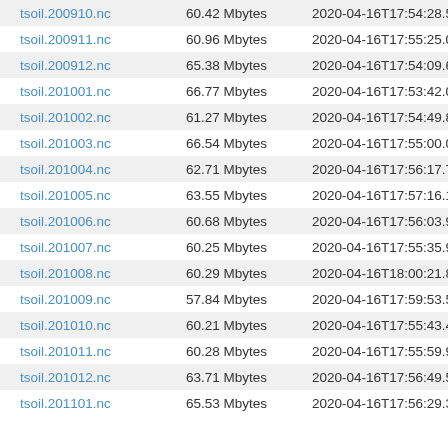| Filename | Size | Timestamp |
| --- | --- | --- |
| tsoil.200910.nc | 60.42 Mbytes | 2020-04-16T17:54:28.585Z |
| tsoil.200911.nc | 60.96 Mbytes | 2020-04-16T17:55:25.001Z |
| tsoil.200912.nc | 65.38 Mbytes | 2020-04-16T17:54:09.611Z |
| tsoil.201001.nc | 66.77 Mbytes | 2020-04-16T17:53:42.089Z |
| tsoil.201002.nc | 61.27 Mbytes | 2020-04-16T17:54:49.821Z |
| tsoil.201003.nc | 66.54 Mbytes | 2020-04-16T17:55:00.068Z |
| tsoil.201004.nc | 62.71 Mbytes | 2020-04-16T17:56:17.798Z |
| tsoil.201005.nc | 63.55 Mbytes | 2020-04-16T17:57:16.120Z |
| tsoil.201006.nc | 60.68 Mbytes | 2020-04-16T17:56:03.990Z |
| tsoil.201007.nc | 60.25 Mbytes | 2020-04-16T17:55:35.942Z |
| tsoil.201008.nc | 60.29 Mbytes | 2020-04-16T18:00:21.874Z |
| tsoil.201009.nc | 57.84 Mbytes | 2020-04-16T17:59:53.500Z |
| tsoil.201010.nc | 60.21 Mbytes | 2020-04-16T17:55:43.479Z |
| tsoil.201011.nc | 60.28 Mbytes | 2020-04-16T17:55:59.931Z |
| tsoil.201012.nc | 63.71 Mbytes | 2020-04-16T17:56:49.519Z |
| tsoil.201101.nc | 65.53 Mbytes | 2020-04-16T17:56:29.363Z |